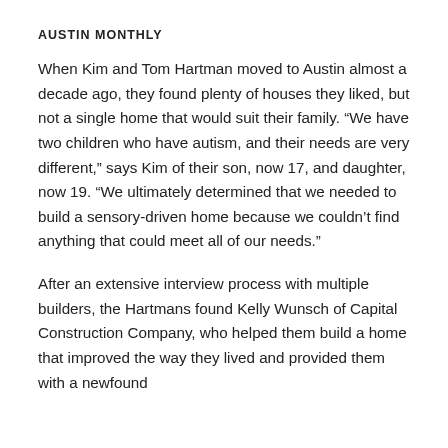AUSTIN MONTHLY
When Kim and Tom Hartman moved to Austin almost a decade ago, they found plenty of houses they liked, but not a single home that would suit their family. “We have two children who have autism, and their needs are very different,” says Kim of their son, now 17, and daughter, now 19. “We ultimately determined that we needed to build a sensory-driven home because we couldn’t find anything that could meet all of our needs.”
After an extensive interview process with multiple builders, the Hartmans found Kelly Wunsch of Capital Construction Company, who helped them build a home that improved the way they lived and provided them with a newfound